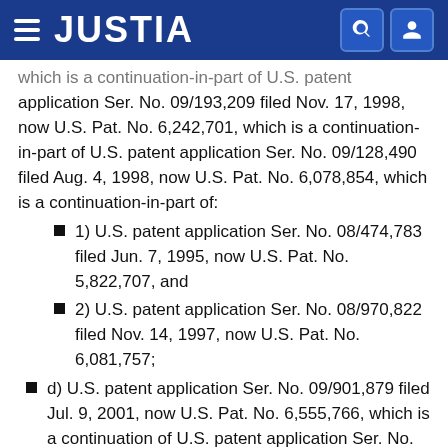JUSTIA
which is a continuation-in-part of U.S. patent application Ser. No. 09/193,209 filed Nov. 17, 1998, now U.S. Pat. No. 6,242,701, which is a continuation-in-part of U.S. patent application Ser. No. 09/128,490 filed Aug. 4, 1998, now U.S. Pat. No. 6,078,854, which is a continuation-in-part of:
1) U.S. patent application Ser. No. 08/474,783 filed Jun. 7, 1995, now U.S. Pat. No. 5,822,707, and
2) U.S. patent application Ser. No. 08/970,822 filed Nov. 14, 1997, now U.S. Pat. No. 6,081,757;
d) U.S. patent application Ser. No. 09/901,879 filed Jul. 9, 2001, now U.S. Pat. No. 6,555,766, which is a continuation of U.S. patent application Ser. No. 09/849,559 filed May 4,